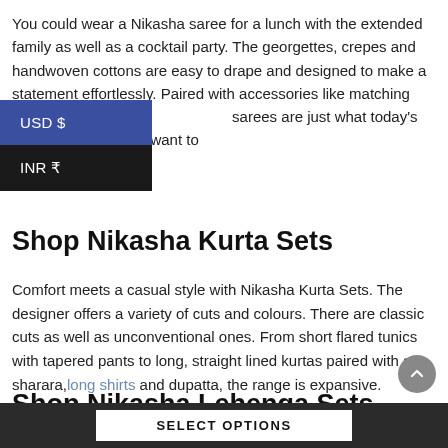You could wear a Nikasha saree for a lunch with the extended family as well as a cocktail party. The georgettes, crepes and handwoven cottons are easy to drape and designed to make a statement effortlessly. Paired with accessories like matching blouses, potlis and sarees are just what today's urban woman would want to
USD $
INR ₹
Shop Nikasha Kurta Sets
Comfort meets a casual style with Nikasha Kurta Sets. The designer offers a variety of cuts and colours. There are classic cuts as well as unconventional ones. From short flared tunics with tapered pants to long, straight lined kurtas paired with a sharara,long shirts and dupatta, the range is expansive.
Shop Nikasha Lehenga Sets
SELECT OPTIONS